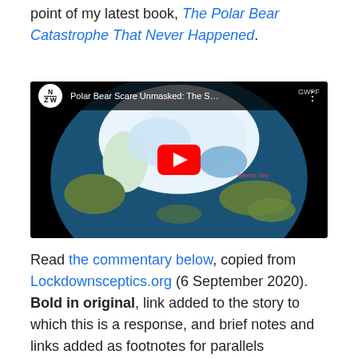point of my latest book, The Polar Bear Catastrophe That Never Happened.
[Figure (screenshot): YouTube video thumbnail showing a globe with Arctic ice cap, title 'Polar Bear Scare Unmasked: The S...' with NZW channel logo and GWPF label, red play button overlay]
Read the commentary below, copied from Lockdownsceptics.org (6 September 2020). Bold in original, link added to the story to which this is a response, and brief notes and links added as footnotes for parallels